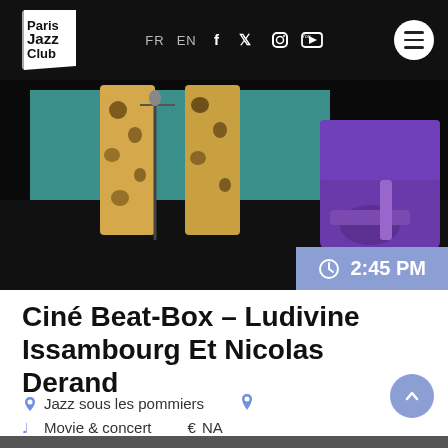Paris Jazz Club — FR EN [social icons] [hamburger menu]
[Figure (photo): Concert photo showing leopard-print microphone stands and a musician in purple clothing playing guitar, dark background]
2:45 PM
Ciné Beat-Box – Ludivine Issambourg Et Nicolas Derand
Jazz sous les pommiers   Movie & concert   € NA